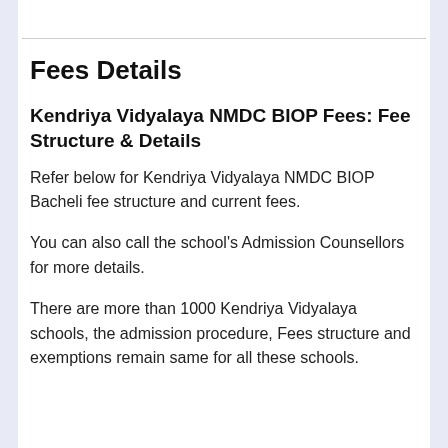Fees Details
Kendriya Vidyalaya NMDC BIOP Fees: Fee Structure & Details
Refer below for Kendriya Vidyalaya NMDC BIOP Bacheli fee structure and current fees.
You can also call the school's Admission Counsellors for more details.
There are more than 1000 Kendriya Vidyalaya schools, the admission procedure, Fees structure and exemptions remain same for all these schools.